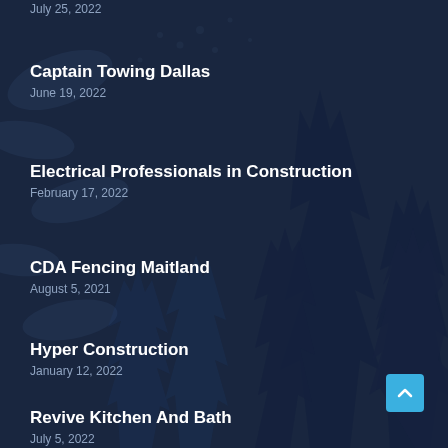July 25, 2022
Captain Towing Dallas
June 19, 2022
Electrical Professionals in Construction
February 17, 2022
CDA Fencing Maitland
August 5, 2021
Hyper Construction
January 12, 2022
Revive Kitchen And Bath
July 5, 2022